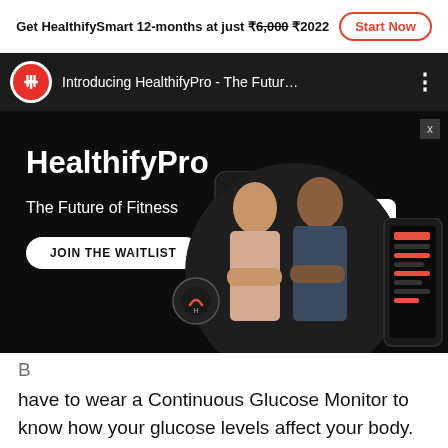Get HealthifySmart 12-months at just ₹6,000 ₹2022  Start Now
Introducing HealthifyPro - The Futur...
[Figure (screenshot): HealthifyPro advertisement banner with black background. Shows 'HealthifyPro - The Future of Fitness' headline, 'JOIN THE WAITLIST' button, a smart scale device, two people (man and woman), a smartphone with app interface, and a circular analytics widget. Close button (x) in top right corner.]
have to wear a Continuous Glucose Monitor to know how your glucose levels affect your body. But with BIOS, you